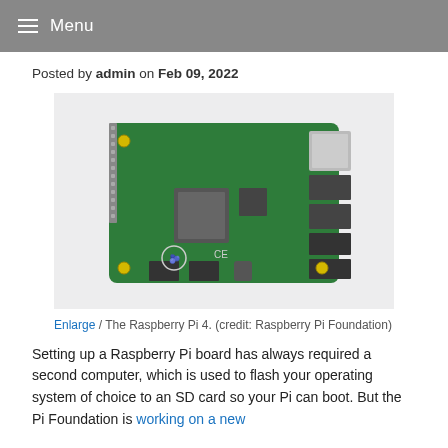≡ Menu
Posted by admin on Feb 09, 2022
[Figure (photo): Photograph of a Raspberry Pi 4 single-board computer showing the green PCB with processor, GPIO pins, USB ports, Ethernet port, and HDMI connectors against a white background.]
Enlarge / The Raspberry Pi 4. (credit: Raspberry Pi Foundation)
Setting up a Raspberry Pi board has always required a second computer, which is used to flash your operating system of choice to an SD card so your Pi can boot. But the Pi Foundation is working on a new